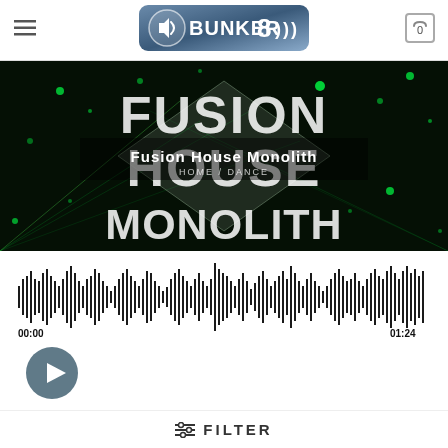[Figure (logo): Bunker 8 logo with speaker icon and sound waves on dark blue rounded rectangle background]
[Figure (photo): Fusion House Monolith product hero image with green laser/particle effects on dark background. Large white text reads FUSION HOUSE MONOLITH overlaid on the image. Center overlay text: Fusion House Monolith with breadcrumb HOME / DANCE]
[Figure (other): Audio waveform visualizer showing black vertical bars of varying heights representing audio waveform. Time markers 00:00 on left and 01:24 on right.]
[Figure (other): Play button - dark grey circular button with white triangle play icon]
FILTER